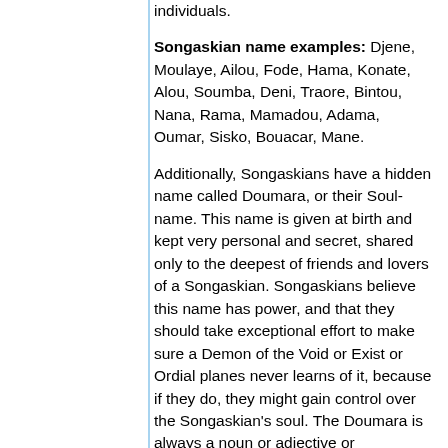individuals.
Songaskian name examples: Djene, Moulaye, Ailou, Fode, Hama, Konate, Alou, Soumba, Deni, Traore, Bintou, Nana, Rama, Mamadou, Adama, Oumar, Sisko, Bouacar, Mane.
Additionally, Songaskians have a hidden name called Doumara, or their Soul-name. This name is given at birth and kept very personal and secret, shared only to the deepest of friends and lovers of a Songaskian. Songaskians believe this name has power, and that they should take exceptional effort to make sure a Demon of the Void or Exist or Ordial planes never learns of it, because if they do, they might gain control over the Songaskian's soul. The Doumara is always a noun or adjective or combination in the Sofaal language that